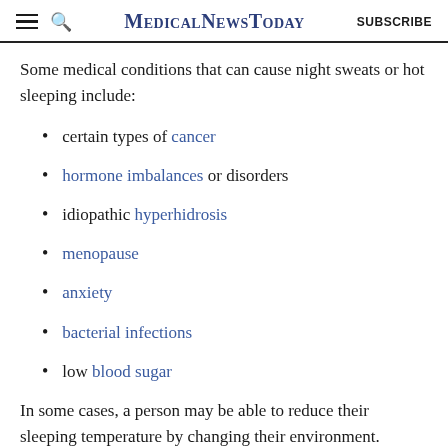MedicalNewsToday  SUBSCRIBE
Some medical conditions that can cause night sweats or hot sleeping include:
certain types of cancer
hormone imbalances or disorders
idiopathic hyperhidrosis
menopause
anxiety
bacterial infections
low blood sugar
In some cases, a person may be able to reduce their sleeping temperature by changing their environment. Changes can include: